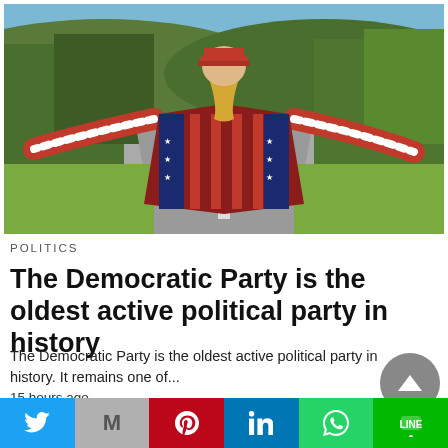[Figure (photo): Person seen from behind wearing an American flag patterned shawl/kimono and a red MAGA cap, standing on a rural road with arms spread wide, surrounded by green trees and hills under a sunny sky.]
POLITICS
The Democratic Party is the oldest active political party in history
The Democratic Party is the oldest active political party in history. It remains one of...
15 hours ago